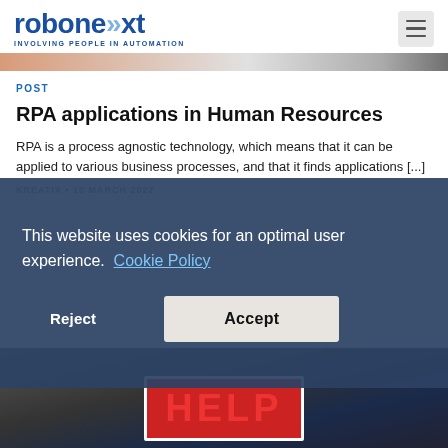[Figure (logo): Robonext logo with text 'INVOLVING PEOPLE IN AUTOMATION']
[Figure (photo): Partial hero banner image strip]
POST
RPA applications in Human Resources
RPA is a process agnostic technology, which means that it can be applied to various business processes, and that it finds applications [...]
KREATIX • 10 MARCH 2022
This website uses cookies for an optimal user experience. Cookie Policy
Reject
Accept
[Figure (photo): Background image showing a HELP sign at the bottom of the page]